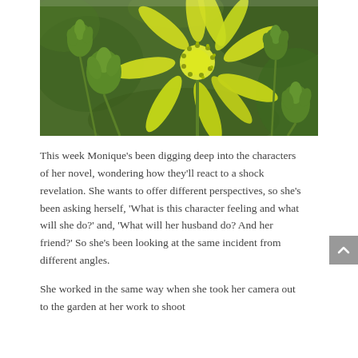[Figure (photo): Close-up macro photograph of yellow-green flowers (star-shaped blooms) with round green buds, on a blurred dark green background.]
This week Monique's been digging deep into the characters of her novel, wondering how they'll react to a shock revelation. She wants to offer different perspectives, so she's been asking herself, 'What is this character feeling and what will she do?' and, 'What will her husband do? And her friend?' So she's been looking at the same incident from different angles.
She worked in the same way when she took her camera out to the garden at her work to shoot